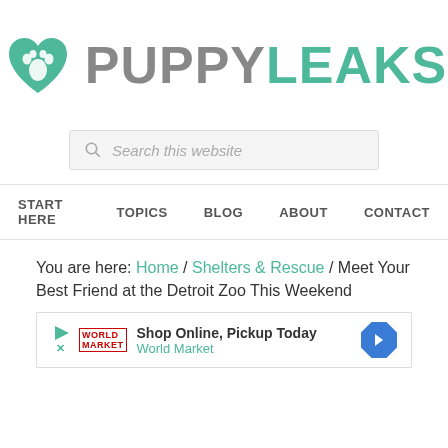[Figure (logo): PuppyLeaks logo with teal heart/paw icon and text PUPPYLEAKS]
[Figure (screenshot): Search box with placeholder text 'Search this website']
START HERE  TOPICS  BLOG  ABOUT  CONTACT
You are here: Home / Shelters & Rescue / Meet Your Best Friend at the Detroit Zoo This Weekend
[Figure (other): Advertisement banner: Shop Online, Pickup Today - World Market]